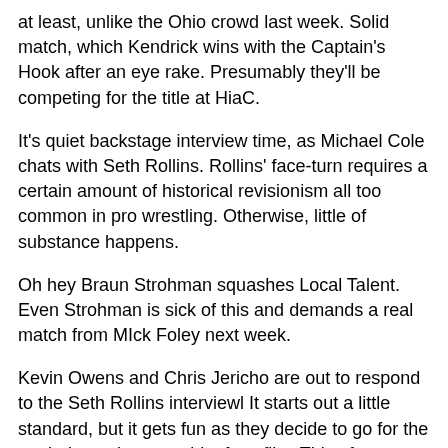at least, unlike the Ohio crowd last week. Solid match, which Kendrick wins with the Captain's Hook after an eye rake. Presumably they'll be competing for the title at HiaC.
It's quiet backstage interview time, as Michael Cole chats with Seth Rollins. Rollins' face-turn requires a certain amount of historical revisionism all too common in pro wrestling. Otherwise, little of substance happens.
Oh hey Braun Strohman squashes Local Talent. Even Strohman is sick of this and demands a real match from MIck Foley next week.
Kevin Owens and Chris Jericho are out to respond to the Seth Rollins interviewl It starts out a little standard, but it gets fun as they decide to go for the tag belts and tease a bit of conflict. This of course brings out The New Day. and a wildly entertaining dueling promo segment ensues, with all three members of the New Day ending up on Jericho's List and a match for later.
Sami Zayn is wrestling Titus O'Neill, who has a shitty new